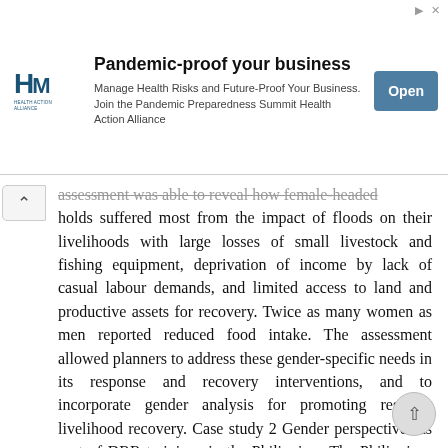[Figure (other): Advertisement banner for Health Action Alliance - Pandemic-proof your business. Manage Health Risks and Future-Proof Your Business. Join the Pandemic Preparedness Summit Health Action Alliance. Open button.]
assessment was able to reveal how female-headed holds suffered most from the impact of floods on their livelihoods with large losses of small livestock and fishing equipment, deprivation of income by lack of casual labour demands, and limited access to land and productive assets for recovery. Twice as many women as men reported reduced food intake. The assessment allowed planners to address these gender-specific needs in its response and recovery interventions, and to incorporate gender analysis for promoting resilient livelihood recovery. Case study 2 Gender perspectives as part of DRR trainings in the Philippines The Philippines is highly prone to natural disasters, and reducing disaster impact is high on the list of national priorities. As part of the project Emergency Response to restore the livelihoods of conflict affected communities in the Autonomous Region of Muslim Mindanao and in Region XII, a Training of Trainers on DRR for agriculture and inland fisheries was conducted for staff